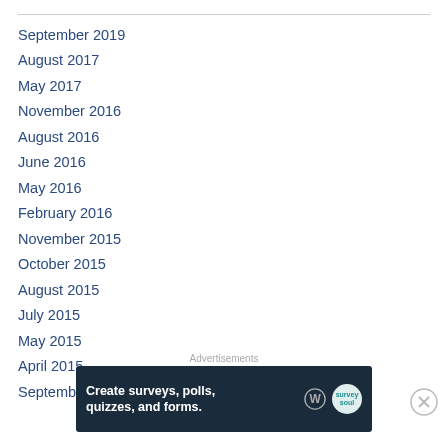September 2019
August 2017
May 2017
November 2016
August 2016
June 2016
May 2016
February 2016
November 2015
October 2015
August 2015
July 2015
May 2015
April 2015
September 2014
Advertisements
[Figure (screenshot): Advertisement banner: 'Create surveys, polls, quizzes, and forms.' with WordPress and SurveyMonkey icons on dark background]